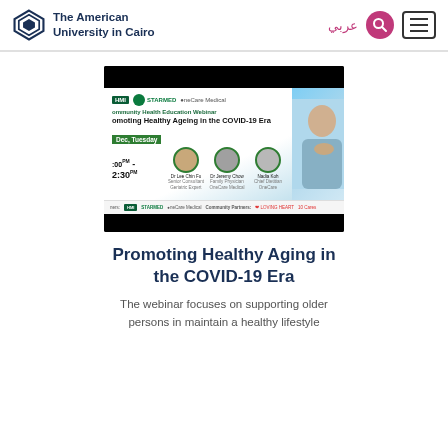The American University in Cairo
[Figure (screenshot): Webinar promotional banner for 'Promoting Healthy Ageing in the COVID-19 Era' — Community Health Education Webinar featuring logos of HMI, STARMED, and OneCare Medical, with speaker profile photos and event details showing Dec, Tuesday, 1:00PM - 2:30PM]
Promoting Healthy Aging in the COVID-19 Era
The webinar focuses on supporting older persons in maintain a healthy lifestyle